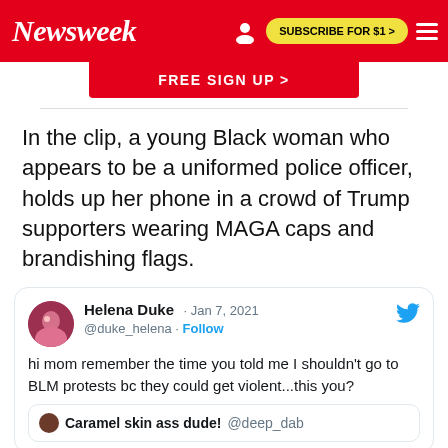Newsweek
[Figure (screenshot): Newsweek website header with red background, Newsweek logo in white italic, person icon, Subscribe for $1 yellow button, and hamburger menu icon]
FREE SIGN UP >
In the clip, a young Black woman who appears to be a uniformed police officer, holds up her phone in a crowd of Trump supporters wearing MAGA caps and brandishing flags.
[Figure (screenshot): Embedded tweet from @duke_helena (Helena Duke) dated Jan 7, 2021. Tweet text: 'hi mom remember the time you told me I shouldn't go to BLM protests bc they could get violent...this you?' with a quoted tweet from Caramel skin ass dude! @deep_dab. Twitter bird logo visible.]